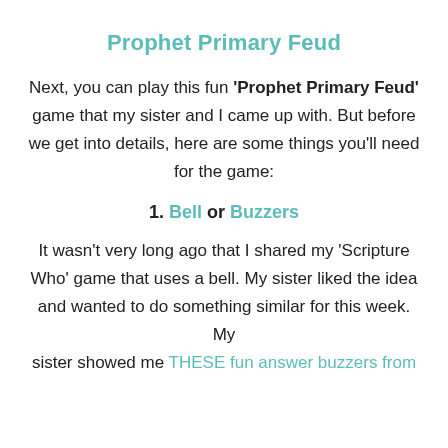Prophet Primary Feud
Next, you can play this fun 'Prophet Primary Feud' game that my sister and I came up with. But before we get into details, here are some things you'll need for the game:
1. Bell or Buzzers
It wasn't very long ago that I shared my 'Scripture Who' game that uses a bell. My sister liked the idea and wanted to do something similar for this week. My sister showed me THESE fun answer buzzers from